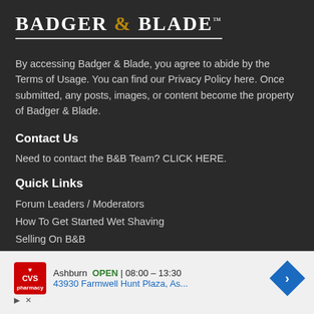[Figure (logo): Badger & Blade logo with serif bold uppercase text and ampersand in gold/brown color, underlined]
By accessing Badger & Blade, you agree to abide by the Terms of Usage. You can find our Privacy Policy here. Once submitted, any posts, images, or content become the property of Badger & Blade.
Contact Us
Need to contact the B&B Team? CLICK HERE.
Quick Links
Forum Leaders / Moderators
How To Get Started Wet Shaving
Selling On B&B
[Figure (screenshot): CVS Pharmacy advertisement showing Ashburn location OPEN 08:00 - 13:30 at 43930 Farmwell Hunt Plaza, As... with navigation arrow icon]